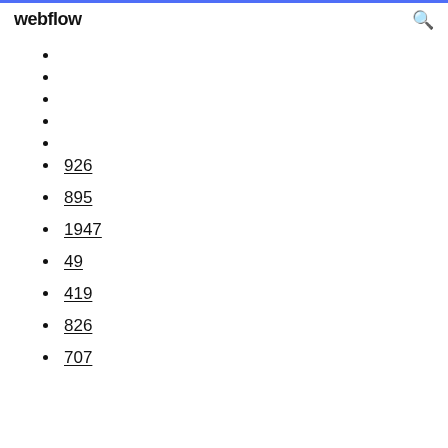webflow
926
895
1947
49
419
826
707